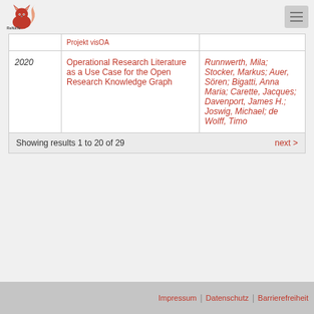ReNaTe logo and hamburger menu
| Year | Title | Authors |
| --- | --- | --- |
|  | Projekt visOA |  |
| 2020 | Operational Research Literature as a Use Case for the Open Research Knowledge Graph | Runnwerth, Mila; Stocker, Markus; Auer, Sören; Bigatti, Anna Maria; Carette, Jacques; Davenport, James H.; Joswig, Michael; de Wolff, Timo |
Showing results 1 to 20 of 29
next >
Impressum | Datenschutz | Barrierefreiheit